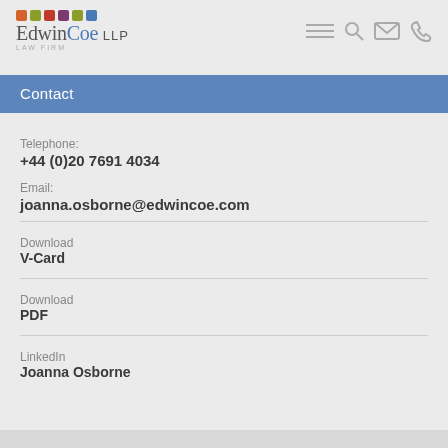[Figure (logo): EdwinCoe LLP Law Firm logo with colored squares and navigation icons]
Contact
Telephone:
+44 (0)20 7691 4034
Email:
joanna.osborne@edwincoe.com
Download
V-Card
Download
PDF
LinkedIn
Joanna Osborne